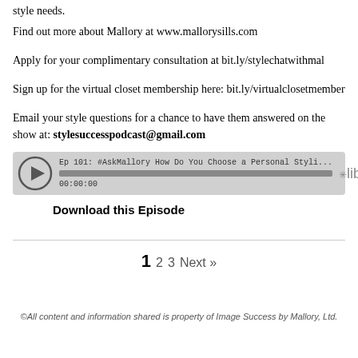style needs.
Find out more about Mallory at www.mallorysills.com
Apply for your complimentary consultation at bit.ly/stylechatwithmal
Sign up for the virtual closet membership here: bit.ly/virtualclosetmember
Email your style questions for a chance to have them answered on the show at: stylesuccesspodcast@gmail.com
[Figure (screenshot): Podcast audio player showing Ep 101: #AskMallory How Do You Choose a Personal Styli... with a progress bar at 00:00:00 and Libsyn branding]
Download this Episode
1  2  3  Next »
©All content and information shared is property of Image Success by Mallory, Ltd.